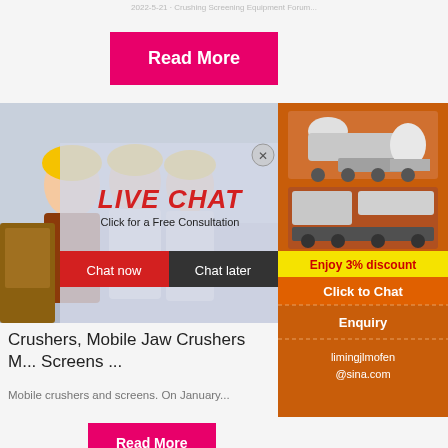2022-5-21 · Crushing Screening Equipment Forum...
Read More
[Figure (photo): Industrial workers in yellow hard hats at construction/mining site with live chat overlay showing 'LIVE CHAT - Click for a Free Consultation' with Chat now and Chat later buttons]
[Figure (photo): Orange sidebar advertisement showing crushing/screening equipment machines, 'Enjoy 3% discount', 'Click to Chat', 'Enquiry', and 'limingjlmofen@sina.com']
Crushers, Mobile Jaw Crushers M... Screens ...
Mobile crushers and screens. On January...
Read More